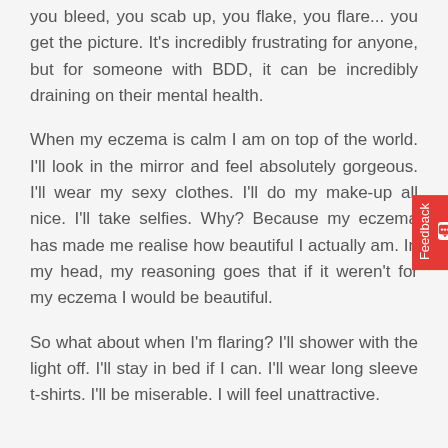you bleed, you scab up, you flake, you flare... you get the picture. It's incredibly frustrating for anyone, but for someone with BDD, it can be incredibly draining on their mental health.
When my eczema is calm I am on top of the world. I'll look in the mirror and feel absolutely gorgeous. I'll wear my sexy clothes. I'll do my make-up all nice. I'll take selfies. Why? Because my eczema has made me realise how beautiful I actually am. In my head, my reasoning goes that if it weren't for my eczema I would be beautiful.
So what about when I'm flaring? I'll shower with the light off. I'll stay in bed if I can. I'll wear long sleeve t-shirts. I'll be miserable. I will feel unattractive.